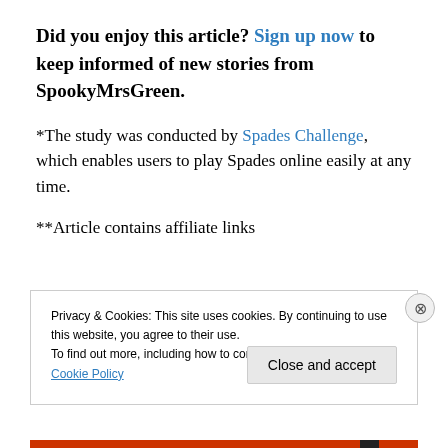Did you enjoy this article? Sign up now to keep informed of new stories from SpookyMrsGreen.
*The study was conducted by Spades Challenge, which enables users to play Spades online easily at any time.
**Article contains affiliate links
Privacy & Cookies: This site uses cookies. By continuing to use this website, you agree to their use.
To find out more, including how to control cookies, see here: Cookie Policy
Close and accept